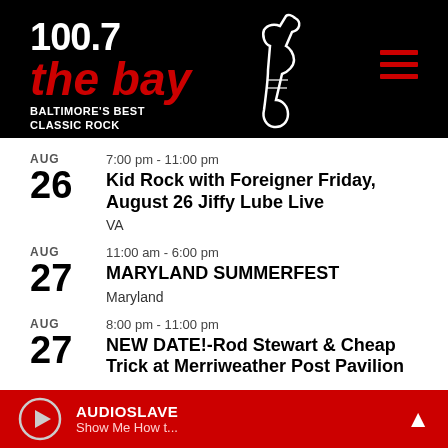[Figure (logo): 100.7 The Bay - Baltimore's Best Classic Rock radio station logo with guitar silhouette on black background]
AUG 26 | 7:00 pm - 11:00 pm | Kid Rock with Foreigner Friday, August 26 Jiffy Lube Live | VA
AUG 27 | 11:00 am - 6:00 pm | MARYLAND SUMMERFEST | Maryland
AUG 27 | 8:00 pm - 11:00 pm | NEW DATE!-Rod Stewart & Cheap Trick at Merriweather Post Pavilion
AUDIOSLAVE - Show Me How t...